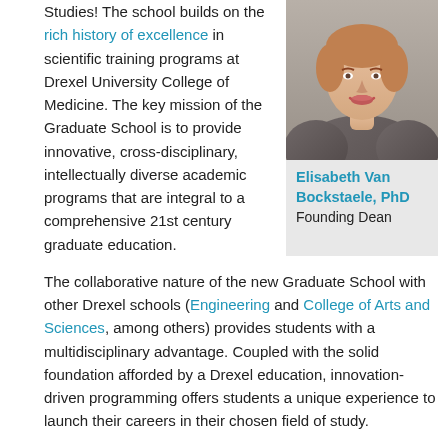Studies! The school builds on the rich history of excellence in scientific training programs at Drexel University College of Medicine. The key mission of the Graduate School is to provide innovative, cross-disciplinary, intellectually diverse academic programs that are integral to a comprehensive 21st century graduate education.
[Figure (photo): Professional headshot of Elisabeth Van Bockstaele, a woman in a grey striped blazer, smiling, against a neutral background.]
Elisabeth Van Bockstaele, PhD
Founding Dean
The collaborative nature of the new Graduate School with other Drexel schools (Engineering and College of Arts and Sciences, among others) provides students with a multidisciplinary advantage. Coupled with the solid foundation afforded by a Drexel education, innovation-driven programming offers students a unique experience to launch their careers in their chosen field of study.
The Graduate School of Biomedical Sciences and Professional Studies is committed to supporting and promoting an academic "success-network" that propels the transition from training in different disciplines to becoming leaders in solving global problems.